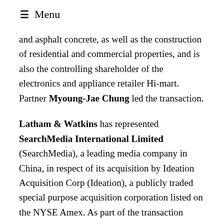≡ Menu
and asphalt concrete, as well as the construction of residential and commercial properties, and is also the controlling shareholder of the electronics and appliance retailer Hi-mart. Partner Myoung-Jae Chung led the transaction.
Latham & Watkins has represented SearchMedia International Limited (SearchMedia), a leading media company in China, in respect of its acquisition by Ideation Acquisition Corp (Ideation), a publicly traded special purpose acquisition corporation listed on the NYSE Amex. As part of the transaction